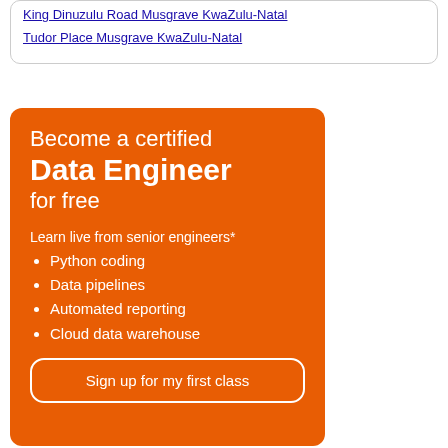King Dinuzulu Road Musgrave KwaZulu-Natal
Tudor Place Musgrave KwaZulu-Natal
[Figure (infographic): Orange advertisement banner for a Data Engineer certification course. Text reads: Become a certified Data Engineer for free. Learn live from senior engineers*. Bullet points: Python coding, Data pipelines, Automated reporting, Cloud data warehouse. Button: Sign up for my first class.]